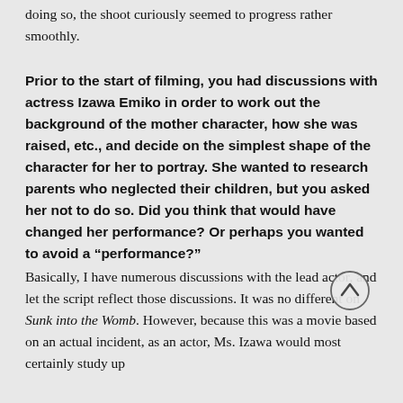doing so, the shoot curiously seemed to progress rather smoothly.
Prior to the start of filming, you had discussions with actress Izawa Emiko in order to work out the background of the mother character, how she was raised, etc., and decide on the simplest shape of the character for her to portray. She wanted to research parents who neglected their children, but you asked her not to do so. Did you think that would have changed her performance? Or perhaps you wanted to avoid a "performance?"
Basically, I have numerous discussions with the lead actor, and let the script reflect those discussions. It was no different on Sunk into the Womb. However, because this was a movie based on an actual incident, as an actor, Ms. Izawa would most certainly study up